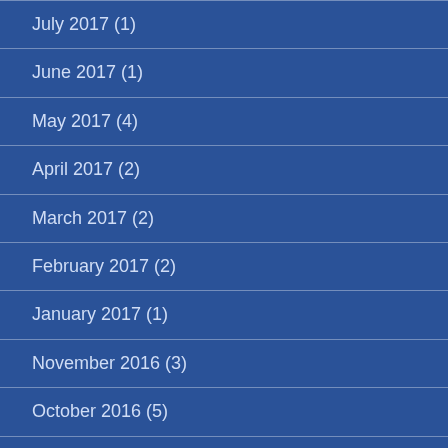July 2017 (1)
June 2017 (1)
May 2017 (4)
April 2017 (2)
March 2017 (2)
February 2017 (2)
January 2017 (1)
November 2016 (3)
October 2016 (5)
September 2016 (1)
August 2016 (2)